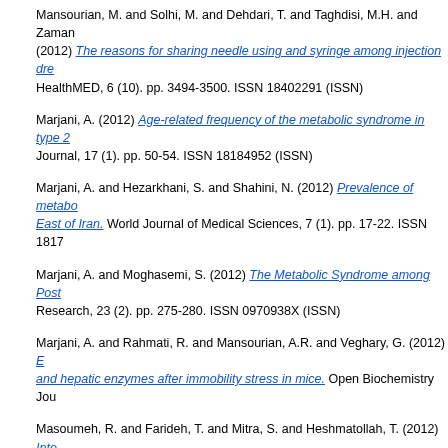Mansourian, M. and Solhi, M. and Dehdari, T. and Taghdisi, M.H. and Zaman... (2012) The reasons for sharing needle using and syringe among injection dre... HealthMED, 6 (10). pp. 3494-3500. ISSN 18402291 (ISSN)
Marjani, A. (2012) Age-related frequency of the metabolic syndrome in type 2... Journal, 17 (1). pp. 50-54. ISSN 18184952 (ISSN)
Marjani, A. and Hezarkhani, S. and Shahini, N. (2012) Prevalence of metabo... East of Iran. World Journal of Medical Sciences, 7 (1). pp. 17-22. ISSN 1817...
Marjani, A. and Moghasemi, S. (2012) The Metabolic Syndrome among Post... Research, 23 (2). pp. 275-280. ISSN 0970938X (ISSN)
Marjani, A. and Rahmati, R. and Mansourian, A.R. and Veghary, G. (2012) E... and hepatic enzymes after immobility stress in mice. Open Biochemistry Jou...
Masoumeh, R. and Farideh, T. and Mitra, S. and Heshmatollah, T. (2012) Inte... in Golestan province, Iran. Pakistan Journal of Biological Sciences, 15 (23). p...
Mehdinejad, M.H. and Bina, B. and Hadian, S. (2012) The survey of removal... by plain sedimentation process. Advances in Environmental Biology, 6 (1). pp...
Mehran Hosseini, S. and Jamshir, M. and Maleki, A. (2012) The effect of gag... Medical Journal, 27 (3). pp. 249-250. ISSN 1999768X (ISSN)
Mehrkash, M. and Kelishadi, R. and Mohammadian, S. and Mousavinasab, R... Asayesh, H. and Poursafa, P. and Shafa, N. (2012) Obesity and metabolic sy... Iranian adolescents. Southeast Asian Journal of Tropical Medicine and Publi... (ISSN)